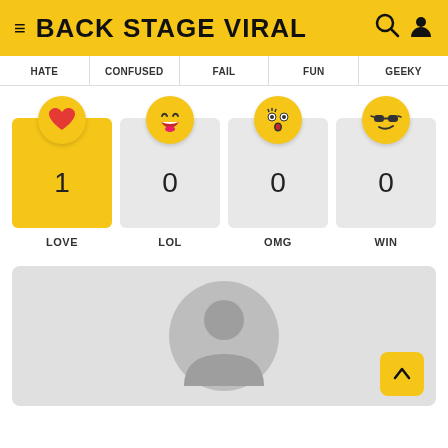BACK STAGE VIRAL
HATE | CONFUSED | FAIL | FUN | GEEKY
[Figure (infographic): Reaction buttons with emoji icons and counts: LOVE (1, active/yellow), LOL (0), OMG (0), WIN (0)]
[Figure (photo): Default user avatar placeholder (grey circle silhouette on light grey background)]